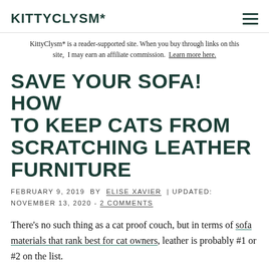KITTYCLYSM*
KittyClysm* is a reader-supported site. When you buy through links on this site, I may earn an affiliate commission. Learn more here.
SAVE YOUR SOFA! HOW TO KEEP CATS FROM SCRATCHING LEATHER FURNITURE
FEBRUARY 9, 2019  BY  ELISE XAVIER  | UPDATED: NOVEMBER 13, 2020 - 2 COMMENTS
There's no such thing as a cat proof couch, but in terms of sofa materials that rank best for cat owners, leather is probably #1 or #2 on the list.